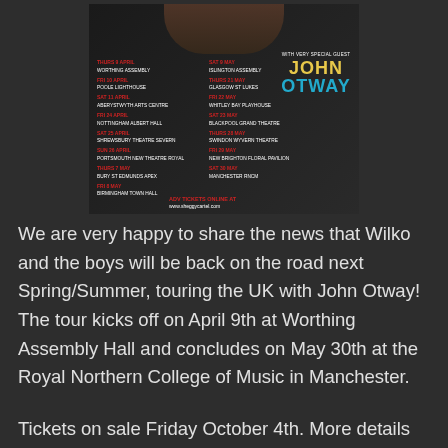[Figure (infographic): Concert tour poster showing Wilko and the boys touring the UK with John Otway as special guest. Lists multiple tour dates from April 9 (Worthing Assembly) through May 30 (Manchester RNCM). Includes venue listings and 'ADV TICKETS ONLINE AT www.sheggycartel.com']
We are very happy to share the news that Wilko and the boys will be back on the road next Spring/Summer, touring the UK with John Otway! The tour kicks off on April 9th at Worthing Assembly Hall and concludes on May 30th at the Royal Northern College of Music in Manchester.
Tickets on sale Friday October 4th. More details can be